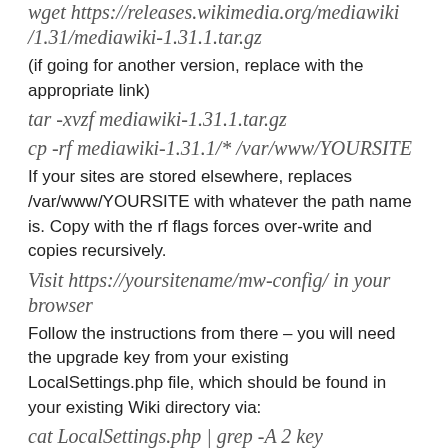wget https://releases.wikimedia.org/mediawiki/1.31/mediawiki-1.31.1.tar.gz
(if going for another version, replace with the appropriate link)
tar -xvzf mediawiki-1.31.1.tar.gz
cp -rf mediawiki-1.31.1/* /var/www/YOURSITE
If your sites are stored elsewhere, replaces /var/www/YOURSITE with whatever the path name is. Copy with the rf flags forces over-write and copies recursively.
Visit https://yoursitename/mw-config/ in your browser
Follow the instructions from there – you will need the upgrade key from your existing LocalSettings.php file, which should be found in your existing Wiki directory via:
cat LocalSettings.php | grep -A 2 key